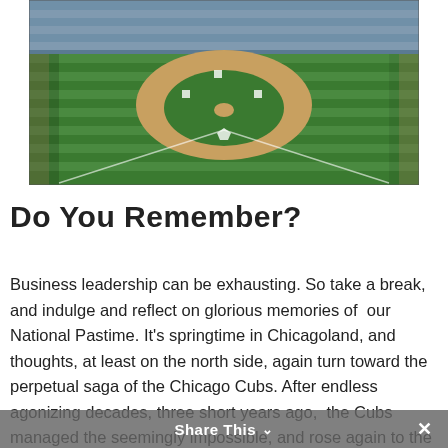[Figure (photo): Aerial view of a baseball stadium with striped green field, dirt infield, and packed stands visible in the background]
Do You Remember?
Business leadership can be exhausting. So take a break, and indulge and reflect on glorious memories of  our National Pastime. It's springtime in Chicagoland, and thoughts, at least on the north side, again turn toward the perpetual saga of the Chicago Cubs. After endless agonizing decades, three short years ago,  the Cubs managed the seemingly impossible, and rose again to the status of World Series champions. And now, each year, anxious fans
Share This ∨  ✕